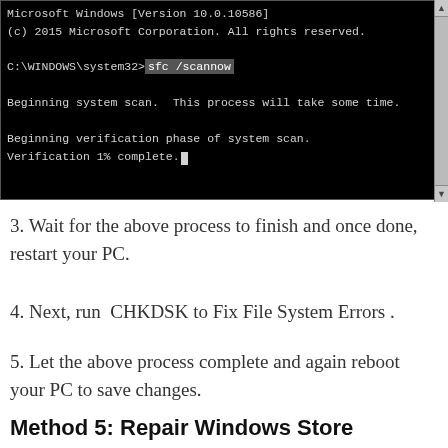[Figure (screenshot): Windows command prompt showing: Microsoft Windows [Version 10.0.10586], (c) 2015 Microsoft Corporation. All rights reserved., C:\WINDOWS\system32>sfc /scannow (highlighted), Beginning system scan. This process will take some time., Beginning verification phase of system scan., Verification 1% complete. (with cursor)]
3. Wait for the above process to finish and once done, restart your PC.
4. Next, run  CHKDSK to Fix File System Errors .
5. Let the above process complete and again reboot your PC to save changes.
Method 5: Repair Windows Store